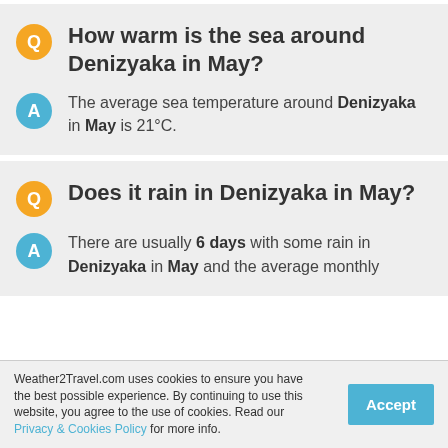How warm is the sea around Denizyaka in May?
The average sea temperature around Denizyaka in May is 21°C.
Does it rain in Denizyaka in May?
There are usually 6 days with some rain in Denizyaka in May and the average monthly
Weather2Travel.com uses cookies to ensure you have the best possible experience. By continuing to use this website, you agree to the use of cookies. Read our Privacy & Cookies Policy for more info.